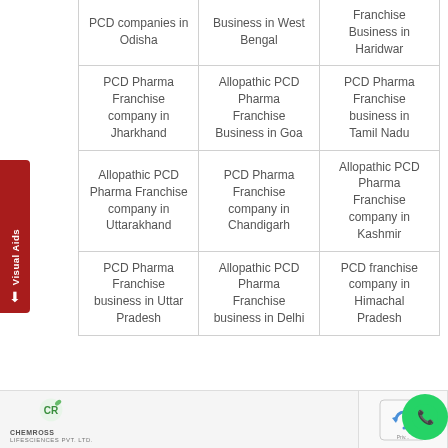| PCD companies in Odisha | Business in West Bengal | Franchise Business in Haridwar |
| PCD Pharma Franchise company in Jharkhand | Allopathic PCD Pharma Franchise Business in Goa | PCD Pharma Franchise business in Tamil Nadu |
| Allopathic PCD Pharma Franchise company in Uttarakhand | PCD Pharma Franchise company in Chandigarh | Allopathic PCD Pharma Franchise company in Kashmir |
| PCD Pharma Franchise business in Uttar Pradesh | Allopathic PCD Pharma Franchise business in Delhi | PCD franchise company in Himachal Pradesh |
[Figure (logo): Chemross Lifesciences Pvt. Ltd. logo at bottom of page]